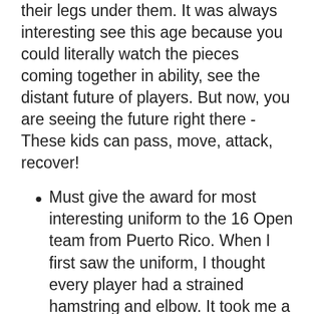their legs under them. It was always interesting see this age because you could literally watch the pieces coming together in ability, see the distant future of players. But now, you are seeing the future right there - These kids can pass, move, attack, recover!
Must give the award for most interesting uniform to the 16 Open team from Puerto Rico. When I first saw the uniform, I thought every player had a strained hamstring and elbow. It took me a second to realize that they were not wearing neoprene sleeves, but rather it was actually the uniform which was designed to have one arm in a full sleeve